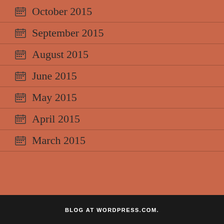October 2015
September 2015
August 2015
June 2015
May 2015
April 2015
March 2015
BLOG AT WORDPRESS.COM.